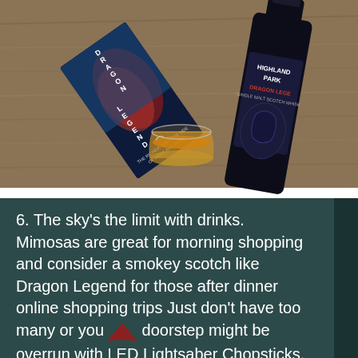[Figure (photo): Top-down photo of Highland Park Dragon Legend scotch whisky bottle, a glass of whisky, and a Dragon Legend book/booklet displayed on a wooden surface.]
6. The sky's the limit with drinks. Mimosas are great for morning shopping and consider a smokey scotch like Dragon Legend for those after dinner online shopping trips Just don't have too many or you doorstep might be overrun with LED Lightsaber Chopsticks.